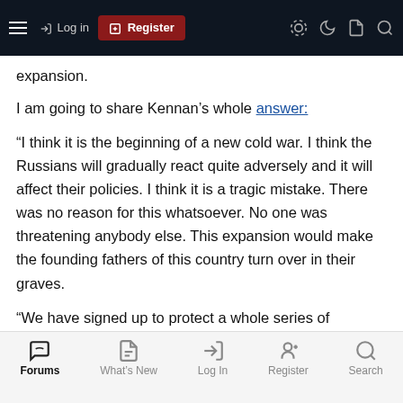Log in | Register (navigation bar)
expansion.
I am going to share Kennan’s whole answer:
“I think it is the beginning of a new cold war. I think the Russians will gradually react quite adversely and it will affect their policies. I think it is a tragic mistake. There was no reason for this whatsoever. No one was threatening anybody else. This expansion would make the founding fathers of this country turn over in their graves.
“We have signed up to protect a whole series of countries, even though we have neither the resources nor the intention to do so
Forums | What’s New | Log In | Register | Search